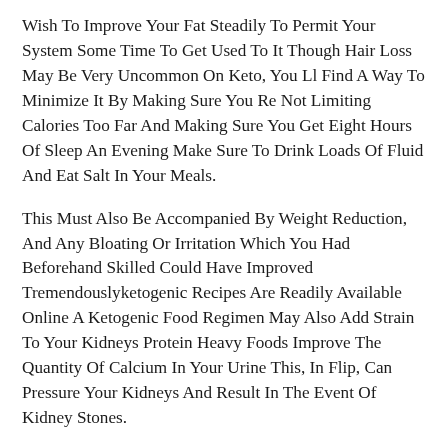Wish To Improve Your Fat Steadily To Permit Your System Some Time To Get Used To It Though Hair Loss May Be Very Uncommon On Keto, You Ll Find A Way To Minimize It By Making Sure You Re Not Limiting Calories Too Far And Making Sure You Get Eight Hours Of Sleep An Evening Make Sure To Drink Loads Of Fluid And Eat Salt In Your Meals.
This Must Also Be Accompanied By Weight Reduction, And Any Bloating Or Irritation Which You Had Beforehand Skilled Could Have Improved Tremendouslyketogenic Recipes Are Readily Available Online A Ketogenic Food Regimen May Also Add Strain To Your Kidneys Protein Heavy Foods Improve The Quantity Of Calcium In Your Urine This, In Flip, Can Pressure Your Kidneys And Result In The Event Of Kidney Stones.